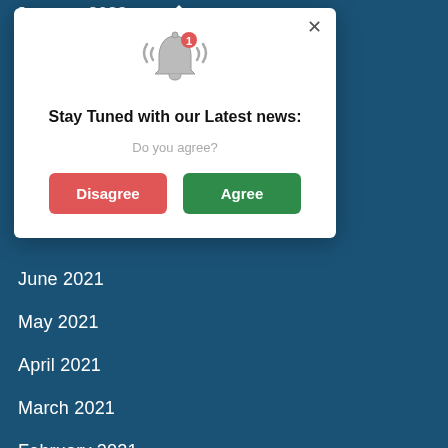January 2022
[Figure (screenshot): Modal dialog popup with bell notification icon, title 'Stay Tuned with our Latest news:', subtitle 'Do you agree?', and two buttons: 'Disagree' (red) and 'Agree' (green), with an X close button in the top right corner.]
June 2021
May 2021
April 2021
March 2021
February 2021
January 2021